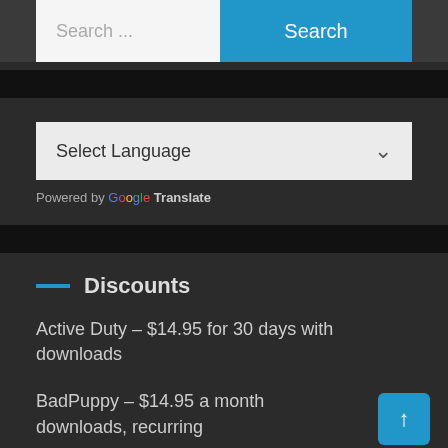[Figure (screenshot): Search bar with text input field showing 'Search ...' placeholder and a blue 'Search' button]
[Figure (screenshot): Google Translate widget with 'Select Language' dropdown and 'Powered by Google Translate' text]
Discounts
Active Duty – $14.95 for 30 days with downloads
BadPuppy – $14.95 a month downloads, recurring
Broke Straight Boys – $19.97 a month